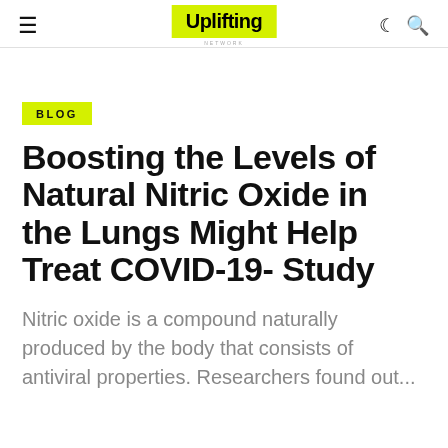Uplifting
BLOG
Boosting the Levels of Natural Nitric Oxide in the Lungs Might Help Treat COVID-19- Study
Nitric oxide is a compound naturally produced by the body that consists of antiviral properties. Researchers found out...